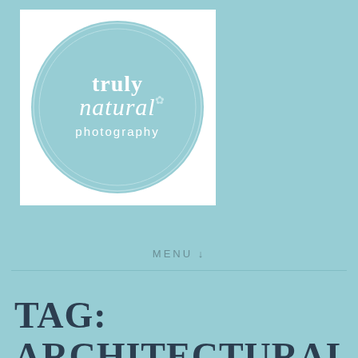[Figure (logo): Truly Natural Photography logo: a circular light blue badge with white text reading 'truly natural photography' with script lettering for 'natural', on a white square background]
MENU ↓
TAG: ARCHITECTURAL RESERVE